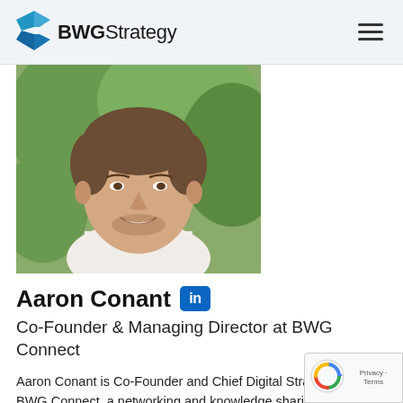BWGStrategy
[Figure (photo): Headshot of Aaron Conant, a man smiling, wearing a white shirt, with green outdoor background]
Aaron Conant
Co-Founder & Managing Director at BWG Connect
Aaron Conant is Co-Founder and Chief Digital Strate... BWG Connect, a networking and knowledge sharing... of thousands of brands who collectively grow their digital